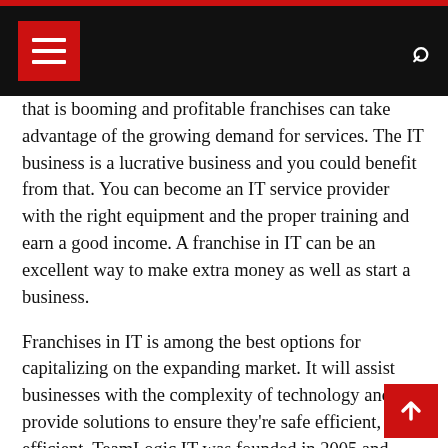Navigation bar with menu icon and search icon
that is booming and profitable franchises can take advantage of the growing demand for services. The IT business is a lucrative business and you could benefit from that. You can become an IT service provider with the right equipment and the proper training and earn a good income. A franchise in IT can be an excellent way to make extra money as well as start a business.
Franchises in IT is among the best options for capitalizing on the expanding market. It will assist businesses with the complexity of technology and provide solutions to ensure they're safe efficient, and efficient. TeamLogic IT was founded in 2005 and today has more than 350 locations throughout the United States. The business model is very successful, and offers a steady cash flow. Anyone seeking to build a profitable